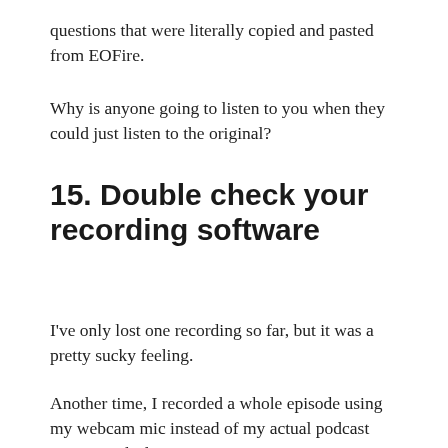questions that were literally copied and pasted from EOFire.
Why is anyone going to listen to you when they could just listen to the original?
15. Double check your recording software
I've only lost one recording so far, but it was a pretty sucky feeling.
Another time, I recorded a whole episode using my webcam mic instead of my actual podcast mic. Not ideal!